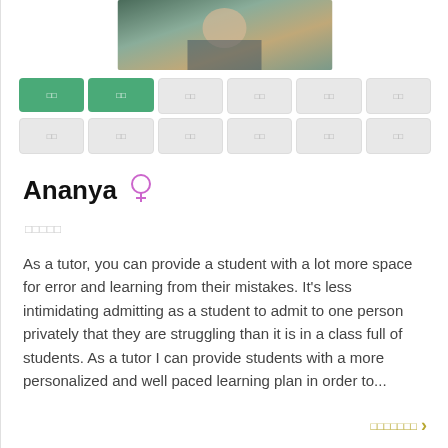[Figure (photo): Profile photo of a person sitting at a table, partially visible, dark floral clothing]
Navigation button grid with category filters, first two highlighted in green
Ananya ♀
★★★★★
As a tutor, you can provide a student with a lot more space for error and learning from their mistakes. It's less intimidating admitting as a student to admit to one person privately that they are struggling than it is in a class full of students. As a tutor I can provide students with a more personalized and well paced learning plan in order to...
더보기 >